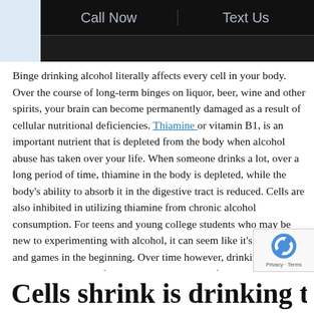Call Now | Text Us
Binge drinking alcohol literally affects every cell in your body. Over the course of long-term binges on liquor, beer, wine and other spirits, your brain can become permanently damaged as a result of cellular nutritional deficiencies. Thiamine or vitamin B1, is an important nutrient that is depleted from the body when alcohol abuse has taken over your life. When someone drinks a lot, over a long period of time, thiamine in the body is depleted, while the body's ability to absorb it in the digestive tract is reduced. Cells are also inhibited in utilizing thiamine from chronic alcohol consumption. For teens and young college students who may be new to experimenting with alcohol, it can seem like it's all just fun and games in the beginning. Over time however, drinking excessive amounts of alcohol can cause a lot of damage to our minds and our bodies. No one thinks they will develop alcohol-related dementia, or "wet brain" syndrome but sadly, it does happen.
Cells shrink is drinking to serious...